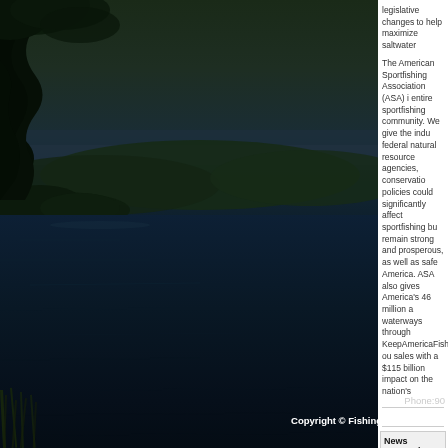[Figure (photo): Lake scene at dusk/dawn with dark water, tree silhouettes in upper left, hills in background, dark blue-green tones]
legislative changes to help maximize saltwater
The American Sportfishing Association (ASA) is entire sportfishing community. We give the indu federal natural resource agencies, conservatio policies could significantly affect sportfishing bu remain strong and prosperous, as well as safe America. ASA also gives America's 46 million a waterways through KeepAmericaFishing™, ou sales with a $115 billion impact on the nation's
News Categories:
Headline News
TV Schedules
Featured Art
Upcoming Ev
Phone:90
Copyright © FishingWorld.com. All